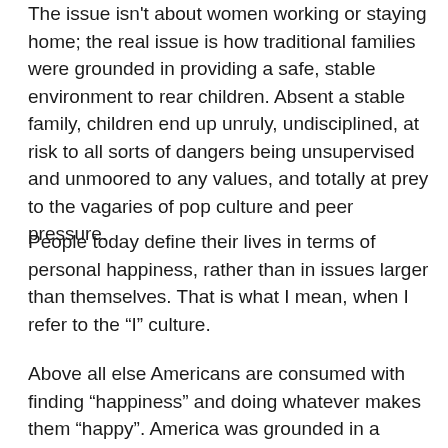The issue isn't about women working or staying home; the real issue is how traditional families were grounded in providing a safe, stable environment to rear children. Absent a stable family, children end up unruly, undisciplined, at risk to all sorts of dangers being unsupervised and unmoored to any values, and totally at prey to the vagaries of pop culture and peer pressure.
People today define their lives in terms of personal happiness, rather than in issues larger than themselves. That is what I mean, when I refer to the “I” culture.
Above all else Americans are consumed with finding “happiness” and doing whatever makes them “happy”. America was grounded in a belief in individual liberty, but the “pursuit of happiness”, that most Americans believe means that they are free to do whatever they want, is not what the clause “pursuit of happiness” really means.